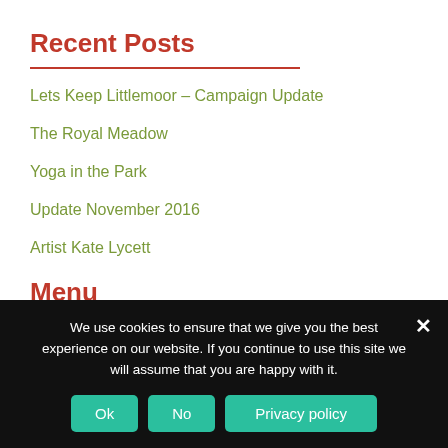Recent Posts
Lets Keep Littlemoor – Campaign Update
The Royal Meadow
Yoga in the Park
Update November 2016
Artist Kate Lycett
Menu
We use cookies to ensure that we give you the best experience on our website. If you continue to use this site we will assume that you are happy with it.